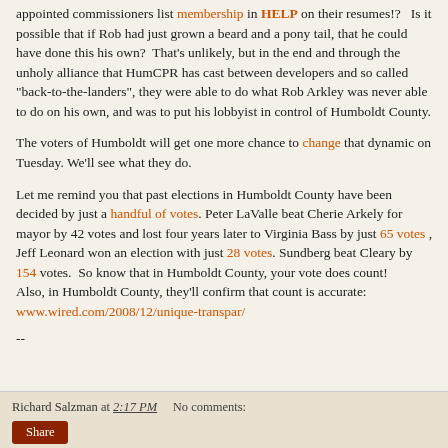appointed commissioners list membership in HELP on their resumes!?   Is it possible that if Rob had just grown a beard and a pony tail, that he could have done this his own?  That's unlikely, but in the end and through the unholy alliance that HumCPR has cast between developers and so called "back-to-the-landers", they were able to do what Rob Arkley was never able to do on his own, and was to put his lobbyist in control of Humboldt County.
The voters of Humboldt will get one more chance to change that dynamic on Tuesday. We'll see what they do.
Let me remind you that past elections in Humboldt County have been decided by just a handful of votes. Peter LaValle beat Cherie Arkely for mayor by 42 votes and lost four years later to Virginia Bass by just 65 votes , Jeff Leonard won an election with just 28 votes. Sundberg beat Cleary by 154 votes.  So know that in Humboldt County, your vote does count!
Also, in Humboldt County, they'll confirm that count is accurate:
www.wired.com/2008/12/unique-transpar/
--
Richard Salzman at 2:17 PM   No comments:  Share